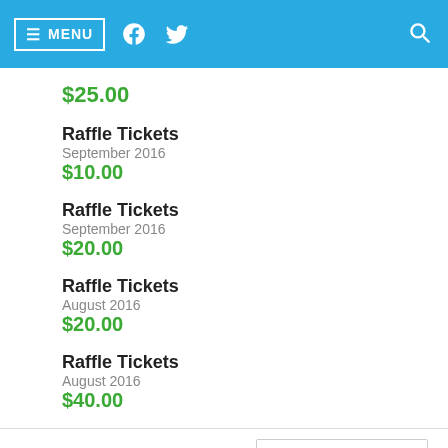MENU
$25.00
Raffle Tickets
September 2016
$10.00
Raffle Tickets
September 2016
$20.00
Raffle Tickets
August 2016
$20.00
Raffle Tickets
August 2016
$40.00
My Teammates
Sort: Amount Raised ⇩